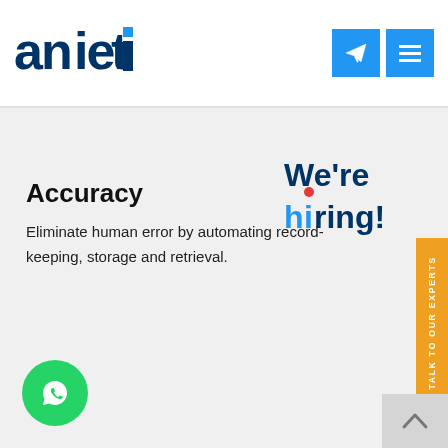antier — Decentralizing the World
Accuracy
Eliminate human error by automating record-keeping, storage and retrieval.
[Figure (illustration): We're hiring! badge text in dark blue and red/blue colors]
[Figure (illustration): Orange vertical sidebar button reading TALK TO OUR EXPERTS]
[Figure (illustration): Green WhatsApp circular chat button at bottom left]
[Figure (illustration): Light grey back-to-top chevron button at bottom right]